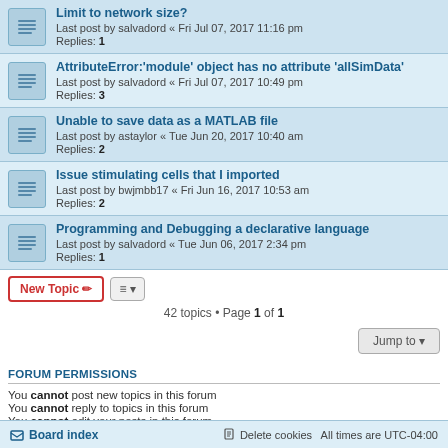Limit to network size? — Last post by salvadord « Fri Jul 07, 2017 11:16 pm — Replies: 1
AttributeError:'module' object has no attribute 'allSimData' — Last post by salvadord « Fri Jul 07, 2017 10:49 pm — Replies: 3
Unable to save data as a MATLAB file — Last post by astaylor « Tue Jun 20, 2017 10:40 am — Replies: 2
Issue stimulating cells that I imported — Last post by bwjmbb17 « Fri Jun 16, 2017 10:53 am — Replies: 2
Programming and Debugging a declarative language — Last post by salvadord « Tue Jun 06, 2017 2:34 pm — Replies: 1
42 topics • Page 1 of 1
FORUM PERMISSIONS
You cannot post new topics in this forum
You cannot reply to topics in this forum
You cannot edit your posts in this forum
You cannot delete your posts in this forum
Board index | Delete cookies | All times are UTC-04:00